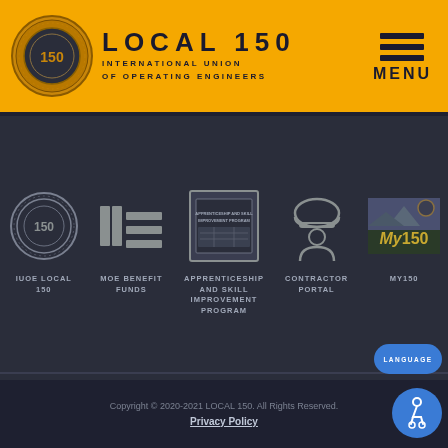LOCAL 150 INTERNATIONAL UNION OF OPERATING ENGINEERS
[Figure (logo): IUOE Local 150 circular seal/badge logo on yellow header background]
[Figure (logo): Hamburger menu icon with three horizontal lines above MENU text]
[Figure (logo): IUOE Local 150 circular seal icon]
IUOE LOCAL 150
[Figure (logo): MOE stylized icon with vertical bars and horizontal bars]
MOE BENEFIT FUNDS
[Figure (logo): Apprenticeship and Skill Improvement Program framed certificate/document icon]
APPRENTICESHIP AND SKILL IMPROVEMENT PROGRAM
[Figure (illustration): Contractor/worker with hard hat silhouette icon]
CONTRACTOR PORTAL
[Figure (logo): My150 logo with scenic background]
MY150
Copyright © 2020-2021 LOCAL 150. All Rights Reserved.
Privacy Policy